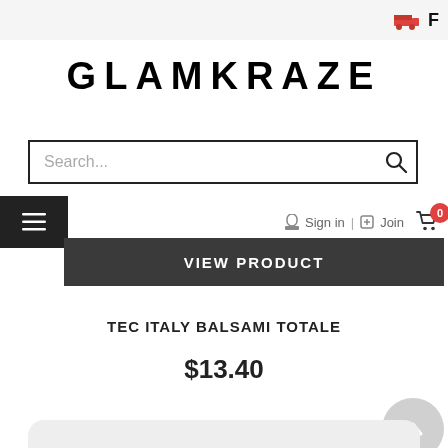F
GLAMKRAZE
Search...
Sign in | Join
VIEW PRODUCT
TEC ITALY BALSAMI TOTALE
$13.40